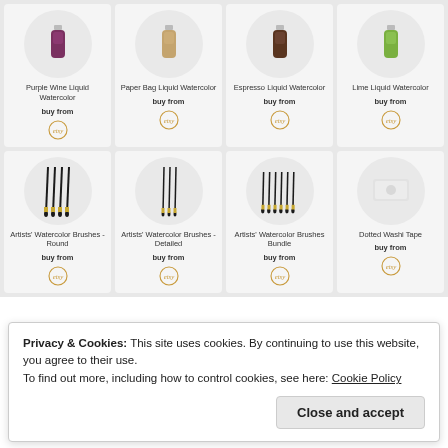[Figure (screenshot): Product grid showing 8 product cards in 2 rows of 4. Top row: Purple Wine Liquid Watercolor, Paper Bag Liquid Watercolor, Espresso Liquid Watercolor, Lime Liquid Watercolor — each with buy from Etsy logo. Bottom row: Artists Watercolor Brushes - Round, Artists Watercolor Brushes - Detailed, Artists Watercolor Brushes Bundle, Dotted Washi Tape — each with buy from Etsy logo.]
Privacy & Cookies: This site uses cookies. By continuing to use this website, you agree to their use.
To find out more, including how to control cookies, see here: Cookie Policy
Close and accept